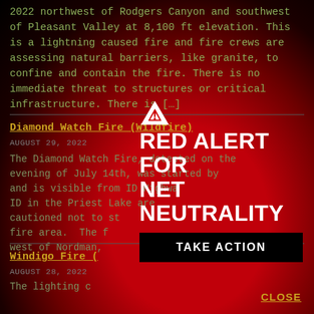2022 northwest of Rodgers Canyon and southwest of Pleasant Valley at 8,100 ft elevation. This is a lightning caused fire and fire crews are assessing natural barriers, like granite, to confine and contain the fire. There is no immediate threat to structures or critical infrastructure. There is […]
Diamond Watch Fire (Wildfire)
AUGUST 29, 2022
The Diamond Watch Fire, detected on the evening of July 14th, was started by and is visible from ID Highway ID in the Priest Lake area. cautioned not to stop fire area. The f west of Nordman,
Windigo Fire (
AUGUST 28, 2022
The lighting c
[Figure (infographic): Red Alert for Net Neutrality overlay with warning triangle icon, bold white text 'RED ALERT FOR NET NEUTRALITY', black 'TAKE ACTION' button, and gold 'CLOSE' link.]